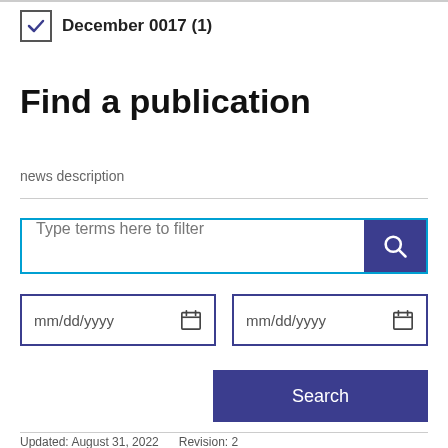December 0017 (1)
Find a publication
news description
Type terms here to filter
mm/dd/yyyy
mm/dd/yyyy
Search
Updated: August 31, 2022   Revision: 2